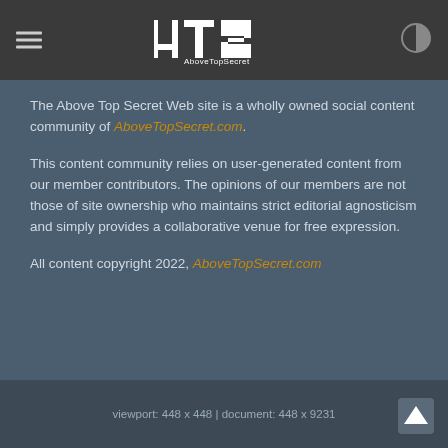4TS AboveTopSecret
The Above Top Secret Web site is a wholly owned social content community of AboveTopSecret.com.
This content community relies on user-generated content from our member contributors. The opinions of our members are not those of site ownership who maintains strict editorial agnosticism and simply provides a collaborative venue for free expression.
All content copyright 2022, AboveTopSecret.com
viewport: 448 x 448 | document: 448 x 9231